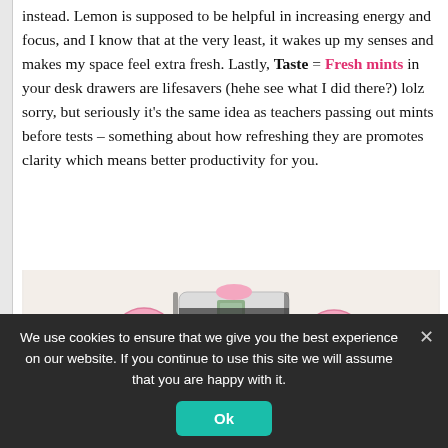instead. Lemon is supposed to be helpful in increasing energy and focus, and I know that at the very least, it wakes up my senses and makes my space feel extra fresh. Lastly, Taste = Fresh mints in your desk drawers are lifesavers (hehe see what I did there?) lolz sorry, but seriously it's the same idea as teachers passing out mints before tests – something about how refreshing they are promotes clarity which means better productivity for you.
[Figure (photo): Photo of pink and white facial cleansing brush device with attachments on a white fluffy surface]
We use cookies to ensure that we give you the best experience on our website. If you continue to use this site we will assume that you are happy with it.